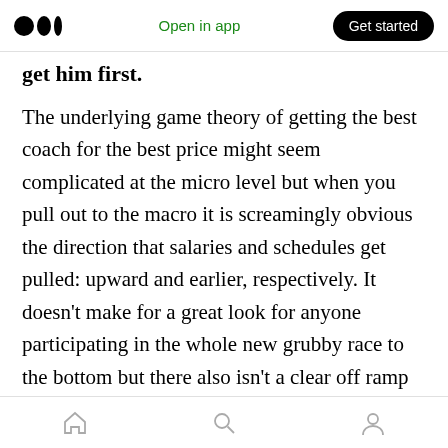Open in app | Get started
get him first.
The underlying game theory of getting the best coach for the best price might seem complicated at the micro level but when you pull out to the macro it is screamingly obvious the direction that salaries and schedules get pulled: upward and earlier, respectively. It doesn't make for a great look for anyone participating in the whole new grubby race to the bottom but there also isn't a clear off ramp for all of us. Within the next ten years, and barring some kind of intervention from the slapdash mix of piety and bureaucratic
Home | Search | Profile